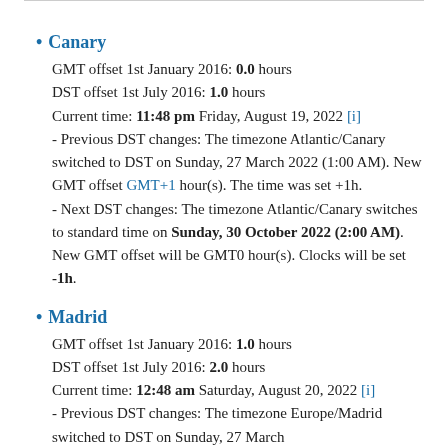• Canary
GMT offset 1st January 2016: 0.0 hours
DST offset 1st July 2016: 1.0 hours
Current time: 11:48 pm Friday, August 19, 2022 [i]
- Previous DST changes: The timezone Atlantic/Canary switched to DST on Sunday, 27 March 2022 (1:00 AM). New GMT offset GMT+1 hour(s). The time was set +1h.
- Next DST changes: The timezone Atlantic/Canary switches to standard time on Sunday, 30 October 2022 (2:00 AM). New GMT offset will be GMT0 hour(s). Clocks will be set -1h.
• Madrid
GMT offset 1st January 2016: 1.0 hours
DST offset 1st July 2016: 2.0 hours
Current time: 12:48 am Saturday, August 20, 2022 [i]
- Previous DST changes: The timezone Europe/Madrid switched to DST on Sunday, 27 March